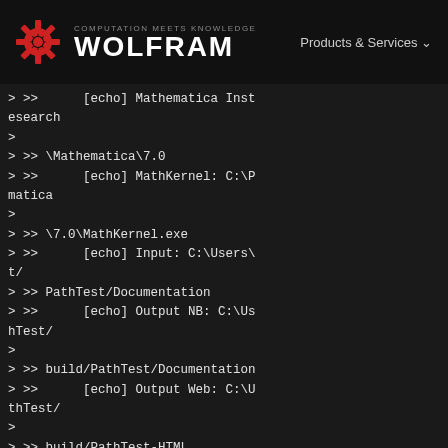COMPUTATION MEETS KNOWLEDGE
WOLFRAM
Products & Services
> >>      [echo] Mathematica Inst
esearch
>
> >> \Mathematica\7.0
> >>      [echo] MathKernel: C:\P
matica
>
> >> \7.0\MathKernel.exe
> >>      [echo] Input: C:\Users\
t/
> >> PathTest/Documentation
> >>      [echo] Output NB: C:\Us
hTest/
>
> >> build/PathTest/Documentation
> >>      [echo] Output Web: C:\U
thTest/
>
> >> build/PathTest-HTML
> >> initMathematicaTask:
> >> main:
> >>      [echo] DOCUMENTATION BU
> >>      [echo] Source: C:\Users
st/
> >> PathTest/Documentation
> >>      [echo] Destination: C:\
athTest/